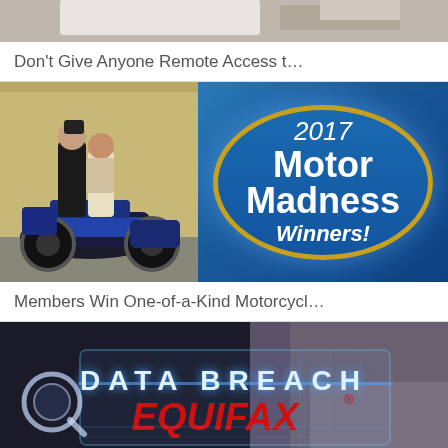[Figure (photo): Partial top photo showing what appears to be a desk or office scene, cropped at top]
Don't Give Anyone Remote Access t…
[Figure (photo): Two people standing next to a blue Harley-Davidson motorcycle on the left half; on the right half a blue promotional badge with gold border reading '2017 Motor Madness Winners!']
Members Win One-of-a-Kind Motorcycl…
[Figure (photo): Dark image showing a person in a suit holding a transparent display panel with 'DATA BREACH' in white glowing letters and 'EQUIFAX®' in red italic letters, with a magnifying glass icon on the left]